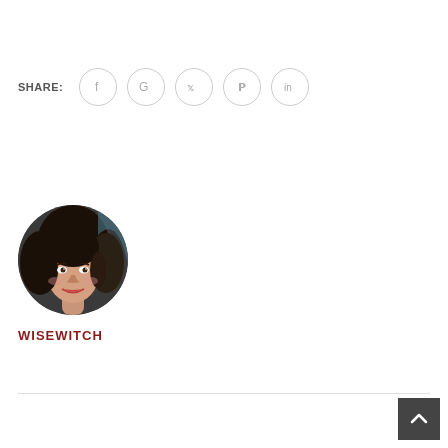SHARE:
[Figure (other): Circular social media share icons for Facebook, Google, Twitter, Pinterest, LinkedIn]
[Figure (photo): Circular profile photo of a woman with dark curly hair, smiling]
WISEWITCH